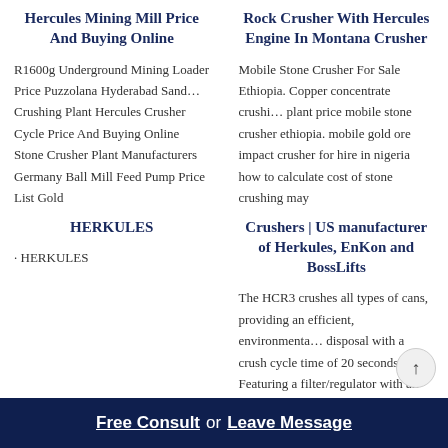Hercules Mining Mill Price And Buying Online
R1600g Underground Mining Loader Price Puzzolana Hyderabad Sand… Crushing Plant Hercules Crusher Cycle Price And Buying Online Stone Crusher Plant Manufacturers Germany Ball Mill Feed Pump Price List Gold
HERKULES
· HERKULES
Rock Crusher With Hercules Engine In Montana Crusher
Mobile Stone Crusher For Sale Ethiopia. Copper concentrate crushi… plant price mobile stone crusher ethiopia. mobile gold ore impact crusher for hire in nigeria how to calculate cost of stone crushing may
Crushers | US manufacturer of Herkules, EnKon and BossLifts
The HCR3 crushes all types of cans, providing an efficient, environmenta… disposal with a crush cycle time of 20 seconds. Featuring a filter/regulator with air gauge, the Herkules HCR3
Free Consult  or  Leave Message